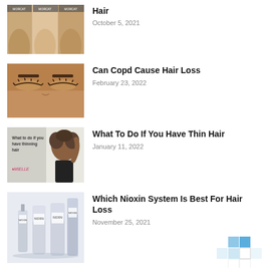[Figure (photo): Three side-by-side images showing hair before/after treatment with product branding visible]
Hair
October 5, 2021
[Figure (photo): Close-up of a person's face with closed eyes]
Can Copd Cause Hair Loss
February 23, 2022
[Figure (photo): Woman with curly hair next to text about thinning hair, MIELLE brand logo visible]
What To Do If You Have Thin Hair
January 11, 2022
[Figure (photo): Nioxin hair care product set bottles arranged together]
Which Nioxin System Is Best For Hair Loss
November 25, 2021
[Figure (other): Partial mosaic/grid chart visible at bottom of page]